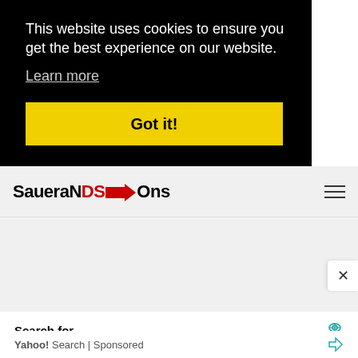This website uses cookies to ensure you get the best experience on our website.
Learn more
Got it!
[Figure (logo): SaueraNDS with red arrow pointing right followed by Ons — company logo in bold black and red]
Search for
01. Digital Marketing Software Online
02. Prepaid Cellphones Plan For Seniors
Yahoo! Search | Sponsored